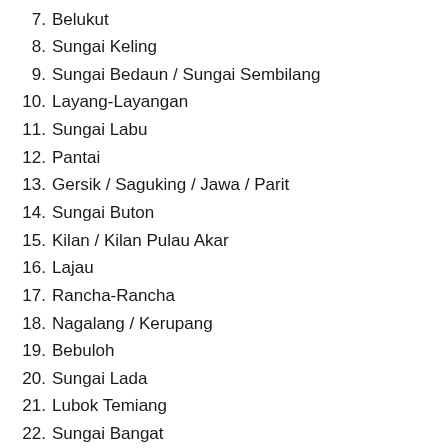7. Belukut
8. Sungai Keling
9. Sungai Bedaun / Sungai Sembilang
10. Layang-Layangan
11. Sungai Labu
12. Pantai
13. Gersik / Saguking / Jawa / Parit
14. Sungai Buton
15. Kilan / Kilan Pulau Akar
16. Lajau
17. Rancha-Rancha
18. Nagalang / Kerupang
19. Bebuloh
20. Sungai Lada
21. Lubok Temiang
22. Sungai Bangat
23. Sungai Miri / Pagar
24. Patau-Patau 1
25. Batu Manikar